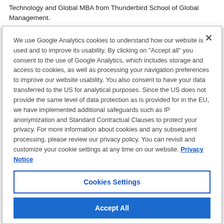Technology and Global MBA from Thunderbird School of Global Management.
We use Google Analytics cookies to understand how our website is used and to improve its usability. By clicking on "Accept all" you consent to the use of Google Analytics, which includes storage and access to cookies, as well as processing your navigation preferences to improve our website usability. You also consent to have your data transferred to the US for analytical purposes. Since the US does not provide the same level of data protection as is provided for in the EU, we have implemented additional safeguards such as IP anonymization and Standard Contractual Clauses to protect your privacy. For more information about cookies and any subsequent processing, please review our privacy policy. You can revisit and customize your cookie settings at any time on our website. Privacy Notice
Cookies Settings
Accept All